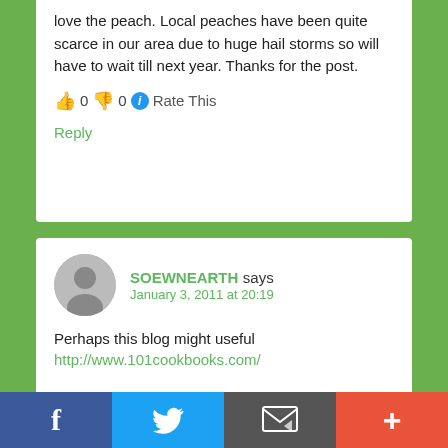love the peach. Local peaches have been quite scarce in our area due to huge hail storms so will have to wait till next year. Thanks for the post.
👍 0 👎 0 ℹ Rate This
Reply
SOEWNEARTH says January 3, 2011 at 20:19
Perhaps this blog might useful
http://www.101cookbooks.com/